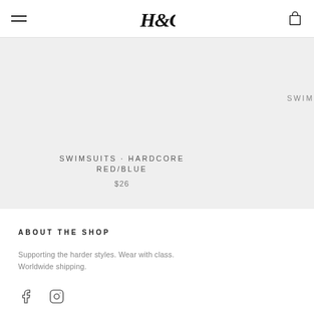H&C — navigation header with hamburger menu, logo, and cart icon
SWIMSUITS · HARDCORE RED/BLUE
$26
ABOUT THE SHOP
Supporting the harder styles. Wear with class. Worldwide shipping.
[Figure (other): Facebook and Instagram social media icons]